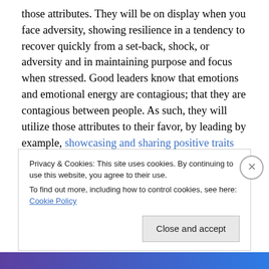those attributes. They will be on display when you face adversity, showing resilience in a tendency to recover quickly from a set-back, shock, or adversity and in maintaining purpose and focus when stressed. Good leaders know that emotions and emotional energy are contagious; that they are contagious between people. As such, they will utilize those attributes to their favor, by leading by example, showcasing and sharing positive traits and nipping negative traits in the bud, before they spread and grow. In this regard morale is viewed as a culture, not a band-aide, as your partner will need to have
Privacy & Cookies: This site uses cookies. By continuing to use this website, you agree to their use.
To find out more, including how to control cookies, see here: Cookie Policy